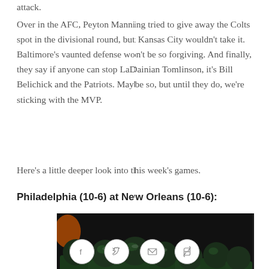attack.
Over in the AFC, Peyton Manning tried to give away the Colts spot in the divisional round, but Kansas City wouldn't take it. Baltimore's vaunted defense won't be so forgiving. And finally, they say if anyone can stop LaDainian Tomlinson, it's Bill Belichick and the Patriots. Maybe so, but until they do, we're sticking with the MVP.
Here's a little deeper look into this week's games.
Philadelphia (10-6) at New Orleans (10-6):
[Figure (photo): Football players in green jerseys and helmets huddled together on a dark field, including players with numbers 75, 76, 2, and others visible.]
Social share icons: Facebook, Twitter, Email, Link